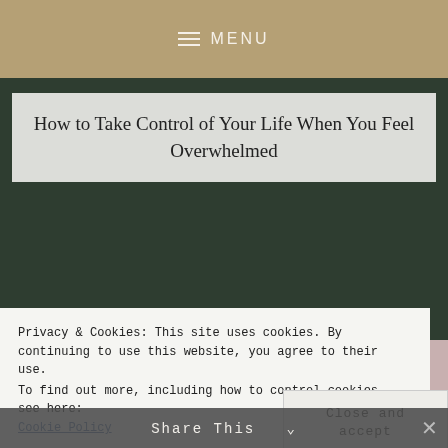MENU
How to Take Control of Your Life When You Feel Overwhelmed
[Figure (photo): Blog article header image with dark green background and article title overlay box. Below shows a close-up photo of pink crocheted or textured items, possibly cookies or crafts with pink frosting/yarn texture.]
Privacy & Cookies: This site uses cookies. By continuing to use this website, you agree to their use.
To find out more, including how to control cookies, see here: Cookie Policy
Close and accept
Share This